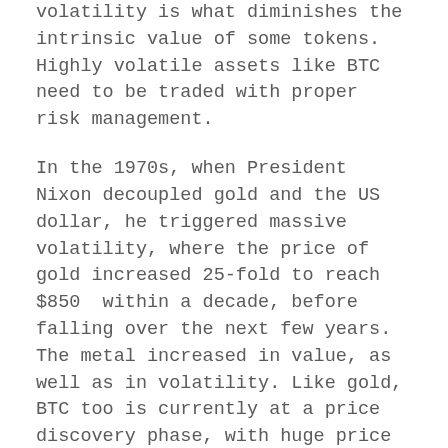volatility is what diminishes the intrinsic value of some tokens. Highly volatile assets like BTC need to be traded with proper risk management.
In the 1970s, when President Nixon decoupled gold and the US dollar, he triggered massive volatility, where the price of gold increased 25-fold to reach $850 within a decade, before falling over the next few years. The metal increased in value, as well as in volatility. Like gold, BTC too is currently at a price discovery phase, with huge price whipsaws. This doesn't mean it won't have value in the future.
Myth #3: Tokens are Used Only for Speculation
Tokens can be of many types, including utility tokens, currency tokens and asset tokens. They have various